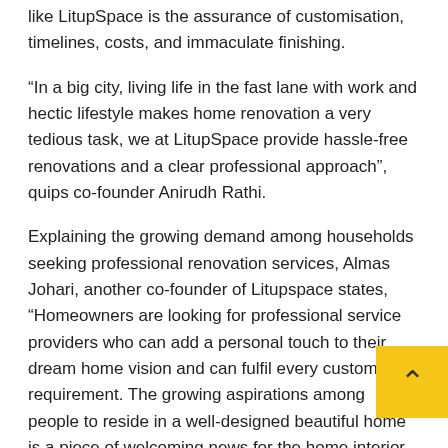like LitupSpace is the assurance of customisation, timelines, costs, and immaculate finishing.
“In a big city, living life in the fast lane with work and hectic lifestyle makes home renovation a very tedious task, we at LitupSpace provide hassle-free renovations and a clear professional approach”, quips co-founder Anirudh Rathi.
Explaining the growing demand among households seeking professional renovation services, Almas Johari, another co-founder of Litupspace states, “Homeowners are looking for professional service providers who can add a personal touch to their dream home vision and can fulfil every customised requirement. The growing aspirations among people to reside in a well-designed beautiful home is a piece of welcoming news for the home interior and improvement industry. At LitupSpace, we work as teamwork on our laid objective of “complete with precision guarantee” to ensure client’s satisfaction.”